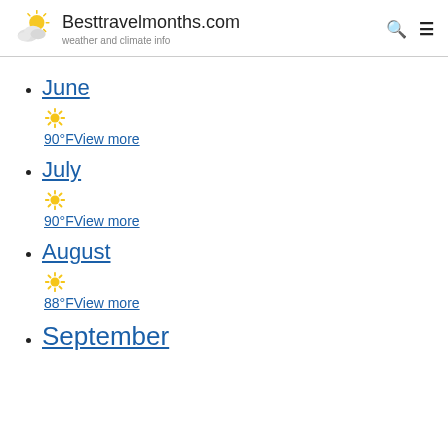Besttravelmonths.com — weather and climate info
June — ☀ 90°F View more
July — ☀ 90°F View more
August — ☀ 88°F View more
September